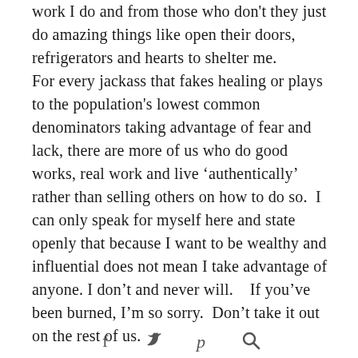work I do and from those who don't they just do amazing things like open their doors, refrigerators and hearts to shelter me.
For every jackass that fakes healing or plays to the population's lowest common denominators taking advantage of fear and lack, there are more of us who do good works, real work and live 'authentically' rather than selling others on how to do so.  I can only speak for myself here and state openly that because I want to be wealthy and influential does not mean I take advantage of anyone. I don't and never will.    If you've been burned, I'm so sorry.  Don't take it out on the rest of us.
[Figure (other): Social media icons row: Facebook, Twitter, Pinterest, and another icon]